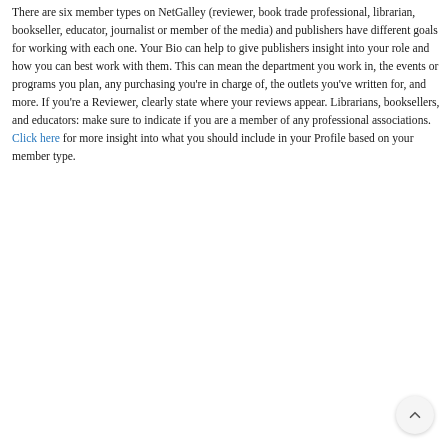There are six member types on NetGalley (reviewer, book trade professional, librarian, bookseller, educator, journalist or member of the media) and publishers have different goals for working with each one. Your Bio can help to give publishers insight into your role and how you can best work with them. This can mean the department you work in, the events or programs you plan, any purchasing you're in charge of, the outlets you've written for, and more. If you're a Reviewer, clearly state where your reviews appear. Librarians, booksellers, and educators: make sure to indicate if you are a member of any professional associations. Click here for more insight into what you should include in your Profile based on your member type.